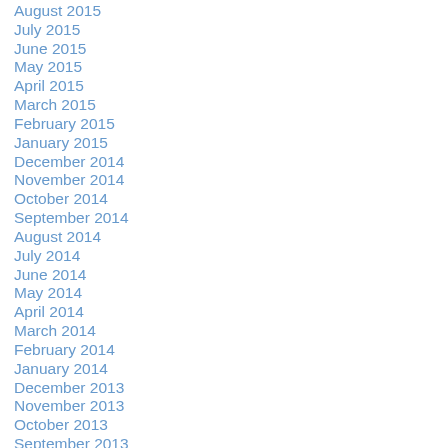August 2015
July 2015
June 2015
May 2015
April 2015
March 2015
February 2015
January 2015
December 2014
November 2014
October 2014
September 2014
August 2014
July 2014
June 2014
May 2014
April 2014
March 2014
February 2014
January 2014
December 2013
November 2013
October 2013
September 2013
August 2013
July 2013
June 2013
May 2013
April 2013
March 2013